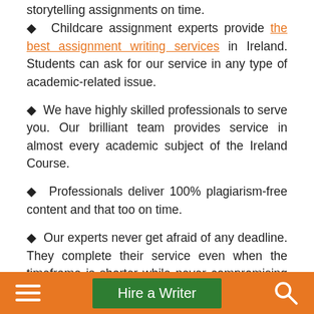storytelling assignments on time.
Childcare assignment experts provide the best assignment writing services in Ireland. Students can ask for our service in any type of academic-related issue.
We have highly skilled professionals to serve you. Our brilliant team provides service in almost every academic subject of the Ireland Course.
Professionals deliver 100% plagiarism-free content and that too on time.
Our experts never get afraid of any deadline. They complete their service even when the timeframe is shorter while never compromising the quality.
Students can avail themselves of the benefits of completing their work under professional guidance at
Hire a Writer